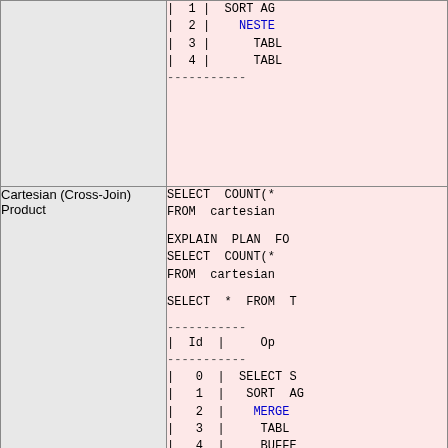| (top partial row - continuation) | | 1 | SORT A...
| 2 | NESTED...
| 3 | TABLE...
| 4 | TABLE...
----------- |
| Cartesian (Cross-Join) Product | SELECT COUNT(*
FROM cartesian

EXPLAIN PLAN F...
SELECT COUNT(*
FROM cartesian

SELECT * FROM T

-----------
| Id |  Op
-----------
|  0 | SELECT S
|  1 | SORT A...
|  2 | MERGE
|  3 | TABLE...
|  4 | BUFFER...
|  5 | TABLE
----------- |
| Internal Cartesian (Cross-Join) Product (partial) | SELECT alias... |